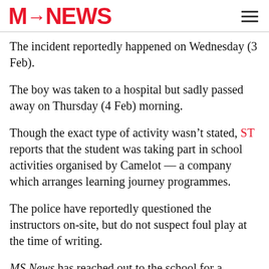MS NEWS
The incident reportedly happened on Wednesday (3 Feb).
The boy was taken to a hospital but sadly passed away on Thursday (4 Feb) morning.
Though the exact type of activity wasn't stated, ST reports that the student was taking part in school activities organised by Camelot — a company which arranges learning journey programmes.
The police have reportedly questioned the instructors on-site, but do not suspect foul play at the time of writing.
MS News has reached out to the school for a statement on this incident.
Our heartfelt condolences go out to the family of the